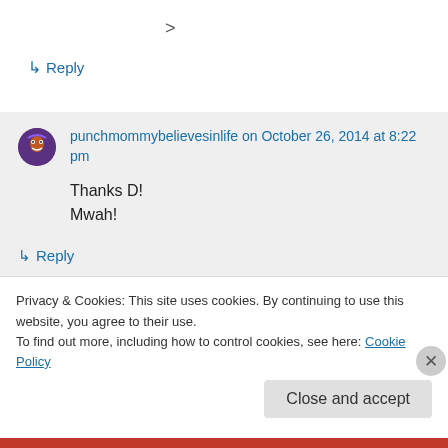>
↳ Reply
punchmommybelievesinlife on October 26, 2014 at 8:22 pm
Thanks D!
Mwah!
↳ Reply
Privacy & Cookies: This site uses cookies. By continuing to use this website, you agree to their use.
To find out more, including how to control cookies, see here: Cookie Policy
Close and accept